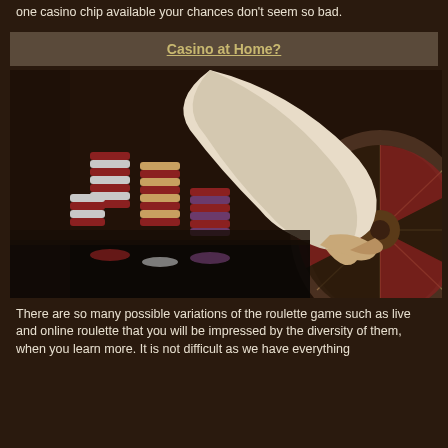one casino chip available your chances don't seem so bad.
Casino at Home?
[Figure (photo): A casino dealer's hand reaching toward a roulette wheel, with stacks of casino chips visible in the foreground. Dark, moody lighting with brown and red tones.]
There are so many possible variations of the roulette game such as live and online roulette that you will be impressed by the diversity of them, when you learn more. It is not difficult as we have everything